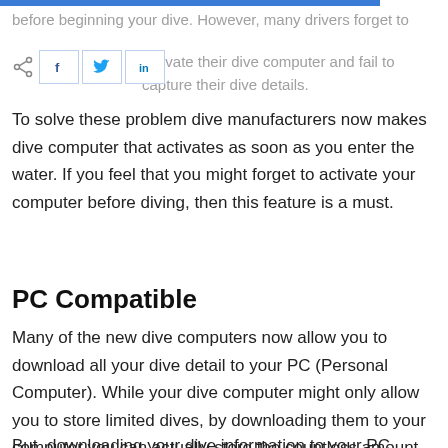before beginning your dive. However, many drivers forget to activate their dive computer and fail to capture their dive details.
[Figure (infographic): Social share bar with share icon and three social media buttons: Facebook (f), Twitter (bird), LinkedIn (in)]
To solve these problem dive manufacturers now makes dive computer that activates as soon as you enter the water. If you feel that you might forget to activate your computer before diving, then this feature is a must.
PC Compatible
Many of the new dive computers now allow you to download all your dive detail to your PC (Personal Computer). While your dive computer might only allow you to store limited dives, by downloading them to your computer you can actually store the countless amount of dive data.
But, downloading your dive information to your PC normally